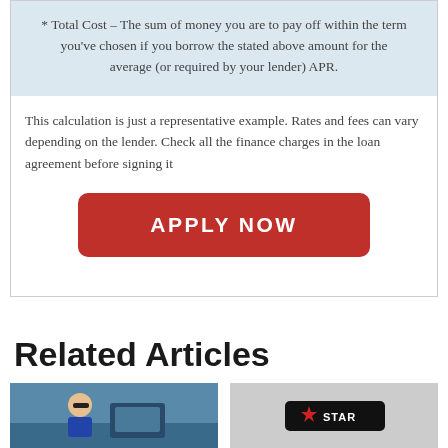* Total Cost – The sum of money you are to pay off within the term you've chosen if you borrow the stated above amount for the average (or required by your lender) APR.
This calculation is just a representative example. Rates and fees can vary depending on the lender. Check all the finance charges in the loan agreement before signing it
[Figure (other): Red rounded button with white bold text reading APPLY NOW]
Related Articles
[Figure (illustration): Thumbnail image showing a cartoon character at a computer]
[Figure (photo): Thumbnail image with a STAR logo badge on dark background]